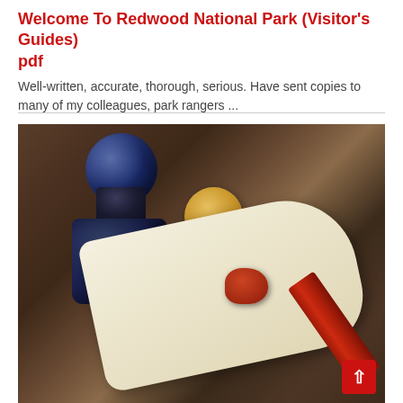Welcome To Redwood National Park (Visitor's Guides) pdf
Well-written, accurate, thorough, serious. Have sent copies to many of my colleagues, park rangers ...
[Figure (photo): Photo of a rolled parchment scroll sealed with red wax, a gold wax stamp, and a dark blue ink bottle on a wooden surface, with a red wax stick]